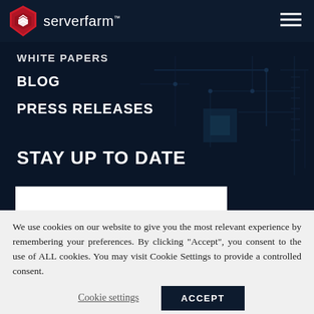serverfarm
WHITE PAPERS
BLOG
PRESS RELEASES
STAY UP TO DATE
We use cookies on our website to give you the most relevant experience by remembering your preferences. By clicking “Accept”, you consent to the use of ALL cookies. You may visit Cookie Settings to provide a controlled consent.
Cookie settings    ACCEPT